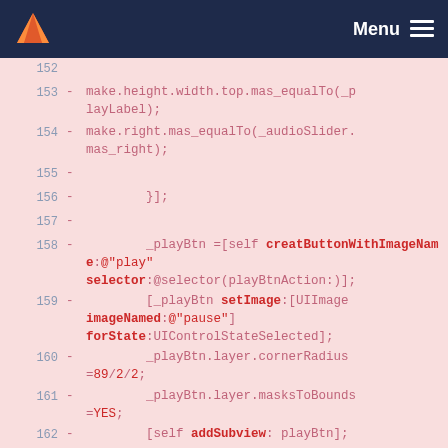Menu
[Figure (screenshot): Code diff view showing Objective-C source code lines 152-162 with deleted lines (red background, minus signs). Code includes make.height.width.top.mas_equalTo, make.right.mas_equalTo, }], _playBtn assignment with creatButtonWithImageName, setImage, imageNamed, forState, cornerRadius, masksToBounds, and addSubview calls.]